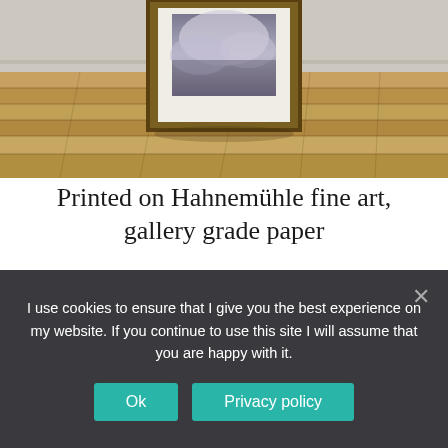[Figure (photo): A framed fine art photograph leaning against a white textured wall, displayed on a wooden plank floor. The frame is dark gold/olive colored with a white mat. The photo inside shows a misty/cloudy mountain or nature scene.]
Printed on Hahnemühle fine art, gallery grade paper
Hahnemühle's authentic Fine Art paper is regarded as top of the line. It is often used for exhibitions and limited-edition art
I use cookies to ensure that I give you the best experience on my website. If you continue to use this site I will assume that you are happy with it.